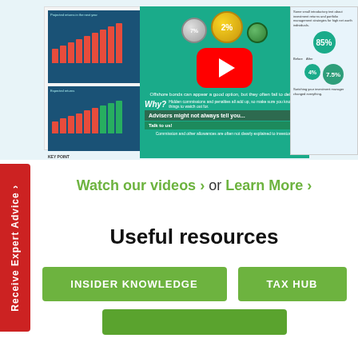[Figure (screenshot): Screenshot collage of financial infographic pages with charts, coins, a YouTube play button overlay, 'Why?', 'Advisers might not always tell you...', 'Talk to us!', and percentage badges including 85%, 4%, 7.5%]
Watch our videos › or Learn More ›
Useful resources
INSIDER KNOWLEDGE
TAX HUB